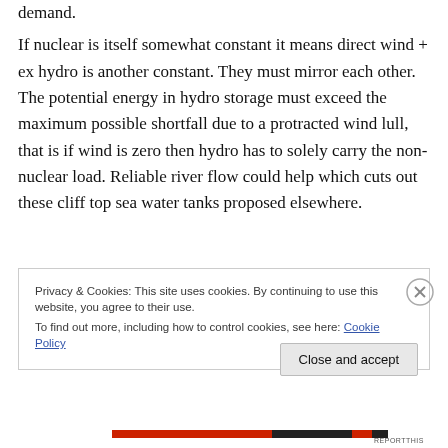demand. If nuclear is itself somewhat constant it means direct wind + ex hydro is another constant. They must mirror each other. The potential energy in hydro storage must exceed the maximum possible shortfall due to a protracted wind lull, that is if wind is zero then hydro has to solely carry the non-nuclear load. Reliable river flow could help which cuts out these cliff top sea water tanks proposed elsewhere.
Privacy & Cookies: This site uses cookies. By continuing to use this website, you agree to their use. To find out more, including how to control cookies, see here: Cookie Policy